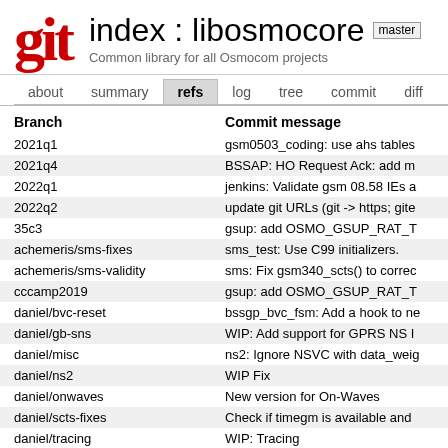git index : libosmocore master
Common library for all Osmocom projects
about  summary  refs  log  tree  commit  diff  stat
| Branch | Commit message |
| --- | --- |
| 2021q1 | gsm0503_coding: use ahs tables |
| 2021q4 | BSSAP: HO Request Ack: add m |
| 2022q1 | jenkins: Validate gsm 08.58 IEs a |
| 2022q2 | update git URLs (git -> https; gite |
| 35c3 | gsup: add OSMO_GSUP_RAT_T |
| achemeris/sms-fixes | sms_test: Use C99 initializers. |
| achemeris/sms-validity | sms: Fix gsm340_scts() to correc |
| cccamp2019 | gsup: add OSMO_GSUP_RAT_T |
| daniel/bvc-reset | bssgp_bvc_fsm: Add a hook to ne |
| daniel/gb-sns | WIP: Add support for GPRS NS I |
| daniel/misc | ns2: Ignore NSVC with data_weig |
| daniel/ns2 | WIP Fix |
| daniel/onwaves | New version for On-Waves |
| daniel/scts-fixes | Check if timegm is available and |
| daniel/tracing | WIP: Tracing |
| debian | Update changelog |